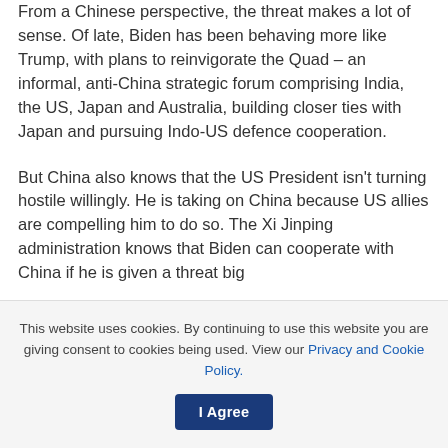From a Chinese perspective, the threat makes a lot of sense. Of late, Biden has been behaving more like Trump, with plans to reinvigorate the Quad – an informal, anti-China strategic forum comprising India, the US, Japan and Australia, building closer ties with Japan and pursuing Indo-US defence cooperation.
But China also knows that the US President isn't turning hostile willingly. He is taking on China because US allies are compelling him to do so. The Xi Jinping administration knows that Biden can cooperate with China if he is given a threat big
This website uses cookies. By continuing to use this website you are giving consent to cookies being used. View our Privacy and Cookie Policy.